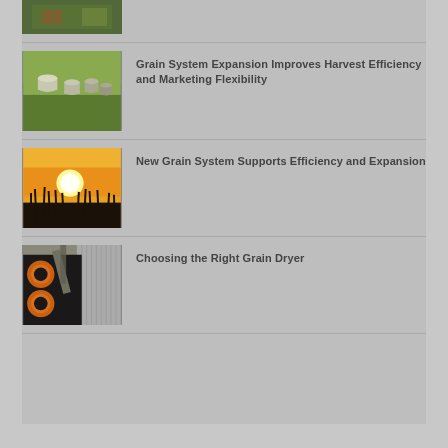[Figure (photo): Partial aerial photo of farm at top of page]
[Figure (photo): Aerial photo of multiple grain bins/silos]
Grain System Expansion Improves Harvest Efficiency and Marketing Flexibility
[Figure (photo): Silhouette of corn field against golden sunset sky]
New Grain System Supports Efficiency and Expansion
[Figure (photo): Industrial grain dryer equipment close-up]
Choosing the Right Grain Dryer